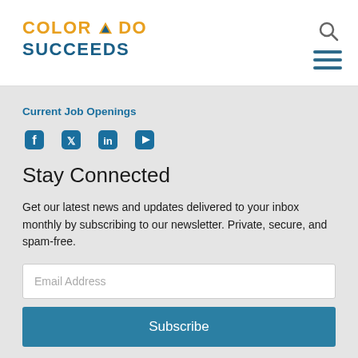COLORADO SUCCEEDS
Current Job Openings
[Figure (illustration): Social media icons: Facebook, Twitter, LinkedIn, YouTube — all in blue]
Stay Connected
Get our latest news and updates delivered to your inbox monthly by subscribing to our newsletter. Private, secure, and spam-free.
Email Address
Subscribe